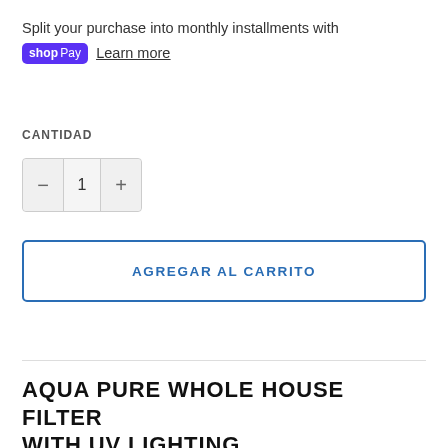Split your purchase into monthly installments with shop Pay  Learn more
CANTIDAD
− 1 +
AGREGAR AL CARRITO
AQUA PURE WHOLE HOUSE FILTER WITH UV LIGHTING